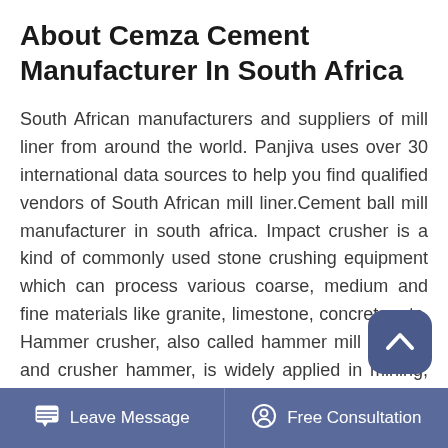About Cemza Cement Manufacturer In South Africa
South African manufacturers and suppliers of mill liner from around the world. Panjiva uses over 30 international data sources to help you find qualified vendors of South African mill liner.Cement ball mill manufacturer in south africa. Impact crusher is a kind of commonly used stone crushing equipment which can process various coarse, medium and fine materials like granite, limestone, concrete, etc. Hammer crusher, also called hammer mill crusher and crusher hammer, is widely applied in mining, building materials, chemical industry, metallurgy, feed.As per the U.S. Steel Industry, the U.S. steel production fell by 12.7 year over year at the ending of
Leave Message   Free Consultation